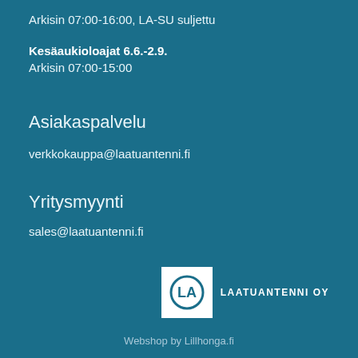Arkisin 07:00-16:00, LA-SU suljettu
Kesäaukioloajat 6.6.-2.9.
Arkisin 07:00-15:00
Asiakaspalvelu
verkkokauppa@laatuantenni.fi
Yritysmyynti
sales@laatuantenni.fi
[Figure (logo): Laatuantenni Oy logo with circular LA symbol in white box and company name text]
Webshop by Lillhonga.fi